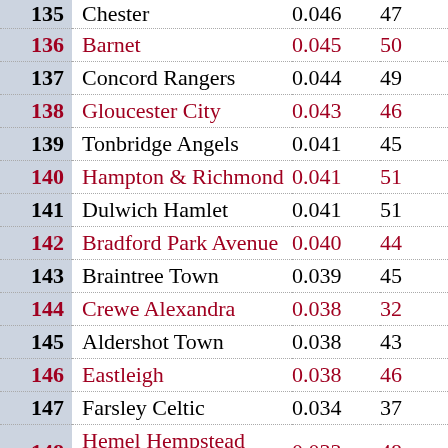| Rank | Name | Value1 | Value2 |
| --- | --- | --- | --- |
| 135 | Chester | 0.046 | 47 |
| 136 | Barnet | 0.045 | 50 |
| 137 | Concord Rangers | 0.044 | 49 |
| 138 | Gloucester City | 0.043 | 46 |
| 139 | Tonbridge Angels | 0.041 | 45 |
| 140 | Hampton & Richmond | 0.041 | 51 |
| 141 | Dulwich Hamlet | 0.041 | 51 |
| 142 | Bradford Park Avenue | 0.040 | 44 |
| 143 | Braintree Town | 0.039 | 45 |
| 144 | Crewe Alexandra | 0.038 | 32 |
| 145 | Aldershot Town | 0.038 | 43 |
| 146 | Eastleigh | 0.038 | 46 |
| 147 | Farsley Celtic | 0.034 | 37 |
| 148 | Hemel Hempstead Town | 0.033 | 48 |
| 149 | AFC Telford United | 0.032 | 37 |
| 150 | ... | 0.030 | 45 |